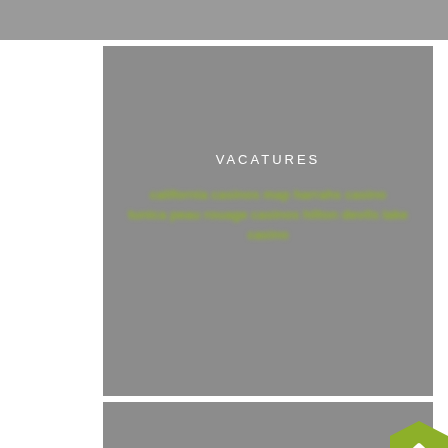VACATURES
california casinos map harrahs casino tunica peau rouage casinos hilton devils lake casino
BEDRIJF